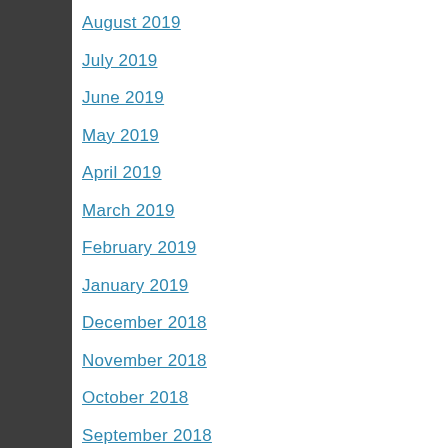August 2019
July 2019
June 2019
May 2019
April 2019
March 2019
February 2019
January 2019
December 2018
November 2018
October 2018
September 2018
August 2018
July 2018
June 2018
May 2018